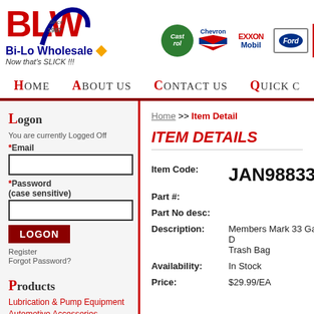[Figure (logo): BLW Bi-Lo Wholesale logo with swoosh, tagline 'Now that's SLICK !!!', oil drop, and brand logos: Castrol, Chevron, ExxonMobil, Ford, Motorcraft]
HOME   ABOUT US   CONTACT US   QUICK C...
LOGON
You are currently Logged Off
*Email
*Password (case sensitive)
LOGON
Register
Forgot Password?
PRODUCTS
Lubrication & Pump Equipment
Automotive Accessories
New Items
Lubricants
Chemicals
Home >> Item Detail
ITEM DETAILS
| Field | Value |
| --- | --- |
| Item Code: | JAN988335 |
| Part #: |  |
| Part No desc: |  |
| Description: | Members Mark 33 Gal D Trash Bag |
| Availability: | In Stock |
| Price: | $29.99/EA |